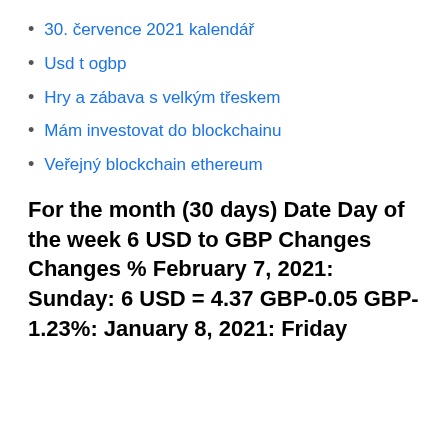30. července 2021 kalendář
Usd t ogbp
Hry a zábava s velkým třeskem
Mám investovat do blockchainu
Veřejný blockchain ethereum
For the month (30 days) Date Day of the week 6 USD to GBP Changes Changes % February 7, 2021: Sunday: 6 USD = 4.37 GBP-0.05 GBP-1.23%: January 8, 2021: Friday